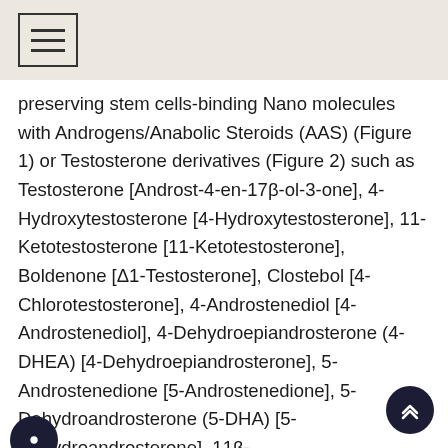[hamburger menu icon]
preserving stem cells-binding Nano molecules with Androgens/Anabolic Steroids (AAS) (Figure 1) or Testosterone derivatives (Figure 2) such as Testosterone [Androst-4-en-17β-ol-3-one], 4-Hydroxytestosterone [4-Hydroxytestosterone], 11-Ketotestosterone [11-Ketotestosterone], Boldenone [Δ1-Testosterone], Clostebol [4-Chlorotestosterone], 4-Androstenediol [4-Androstenediol], 4-Dehydroepiandrosterone (4-DHEA) [4-Dehydroepiandrosterone], 5-Androstenedione [5-Androstenedione], 5-Dehydroandrosterone (5-DHA) [5-Dehydroandrosterone], 11β-Hydroxyandrostenedione (11β-OHA4) [11β-Hydroxy-4-androstenedione], Adrenosterone (11-ketoandrostenedione, 11-KA4) [11-Keto-4-androstenedione], Androstenediol (5-androstenediol, A5) [5-Androstenediol], Androstenedione (4-androstenedione, A4) [4-Androstenedione], Atamestane [1-Methyl-51-4-...